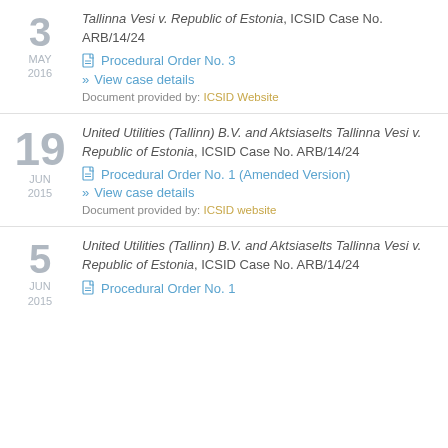3 MAY 2016 — Tallinna Vesi v. Republic of Estonia, ICSID Case No. ARB/14/24 — Procedural Order No. 3 — View case details — Document provided by: ICSID Website
19 JUN 2015 — United Utilities (Tallinn) B.V. and Aktsiaselts Tallinna Vesi v. Republic of Estonia, ICSID Case No. ARB/14/24 — Procedural Order No. 1 (Amended Version) — View case details — Document provided by: ICSID website
5 JUN 2015 — United Utilities (Tallinn) B.V. and Aktsiaselts Tallinna Vesi v. Republic of Estonia, ICSID Case No. ARB/14/24 — Procedural Order No. 1